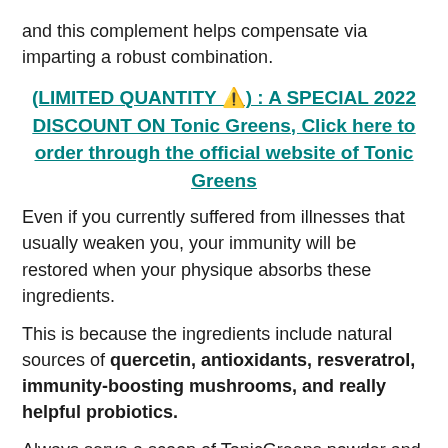and this complement helps compensate via imparting a robust combination.
(LIMITED QUANTITY ⚠️) : A SPECIAL 2022 DISCOUNT ON Tonic Greens, Click here to order through the official website of Tonic Greens
Even if you currently suffered from illnesses that usually weaken you, your immunity will be restored when your physique absorbs these ingredients.
This is because the ingredients include natural sources of quercetin, antioxidants, resveratrol, immunity-boosting mushrooms, and really helpful probiotics.
Always serve a scoop of TonicGreens powder and combine it with water or different non-alcoholic liquids of